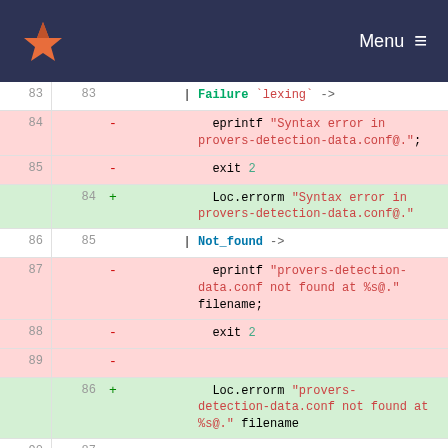GitLab — Menu
[Figure (screenshot): Code diff view showing OCaml code changes around line 83-92 and a hunk header at line 178/175. Deleted lines (red) use eprintf/exit, added lines (green) use Loc.errorm. Context lines show | Failure lexing ->, | Not_found ->, empty lines, let provers_found = ref 0, and a hunk marker @@ -178,7 +175,6 @@ let detect_exec main data com =]